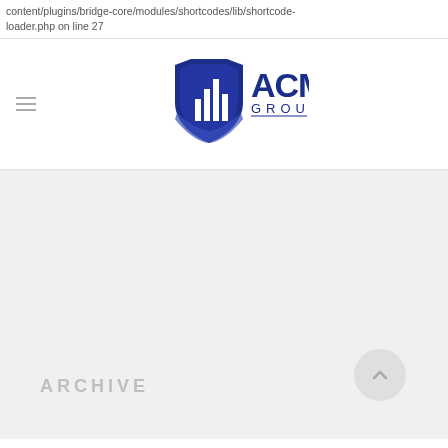content/plugins/bridge-core/modules/shortcodes/lib/shortcode-loader.php on line 27
[Figure (logo): ACM Group logo — dark blue shield with bar chart icon and text 'ACM GROUP']
ARCHIVE